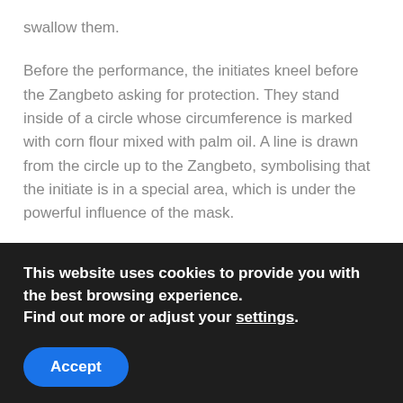swallow them.
Before the performance, the initiates kneel before the Zangbeto asking for protection. They stand inside of a circle whose circumference is marked with corn flour mixed with palm oil. A line is drawn from the circle up to the Zangbeto, symbolising that the initiate is in a special area, which is under the powerful influence of the mask.
At the end of the magic-trick performance, the crowd thanks Zangbeto for proving that his presence is real and effective. Then, everything is silent. People stop dancing and singing, the band stops playing the drums. One can only hear the dialogue between the
This website uses cookies to provide you with the best browsing experience.
Find out more or adjust your settings.
Accept